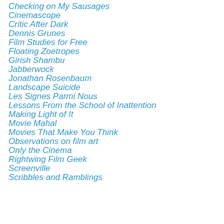Checking on My Sausages
Cinemascope
Critic After Dark
Dennis Grunes
Film Studies for Free
Floating Zoetropes
Girish Shambu
Jabberwock
Jonathan Rosenbaum
Landscape Suicide
Les Signes Parmi Nous
Lessons From the School of Inattention
Making Light of It
Movie Mahal
Movies That Make You Think
Observations on film art
Only the Cinema
Rightwing Film Geek
Screenville
Scribbles and Ramblings